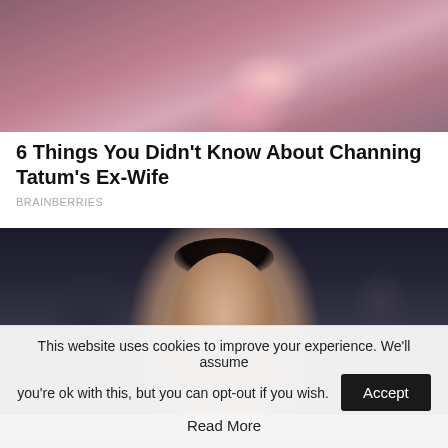[Figure (photo): Cropped photo of a woman with dark hair, wearing pink dangling earrings, smiling, shown from shoulders up]
6 Things You Didn’t Know About Channing Tatum’s Ex-Wife
BRAINBERRIES
[Figure (photo): Photo of a dark-haired woman with her hair up, looking to the side, in a dimly lit environment, wearing a blue top]
This website uses cookies to improve your experience. We’ll assume you’re ok with this, but you can opt-out if you wish.
Read More